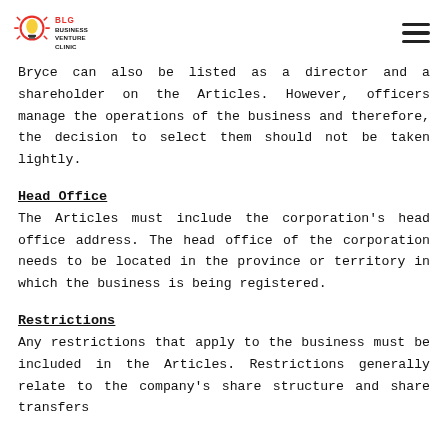BLG Business Venture Clinic
Bryce can also be listed as a director and a shareholder on the Articles. However, officers manage the operations of the business and therefore, the decision to select them should not be taken lightly.
Head Office
The Articles must include the corporation's head office address. The head office of the corporation needs to be located in the province or territory in which the business is being registered.
Restrictions
Any restrictions that apply to the business must be included in the Articles. Restrictions generally relate to the company's share structure and share transfers